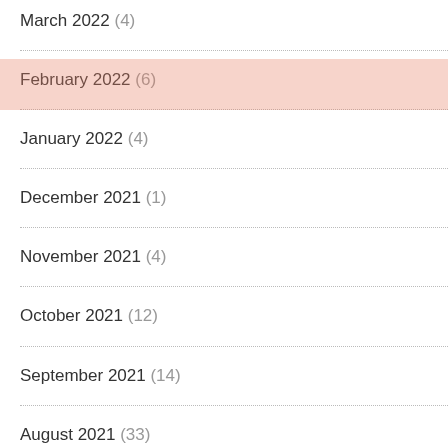March 2022 (4)
February 2022 (6)
January 2022 (4)
December 2021 (1)
November 2021 (4)
October 2021 (12)
September 2021 (14)
August 2021 (33)
July 2021 (31)
June 2021 (22)
May 2021 (9)
April 2021 (5)